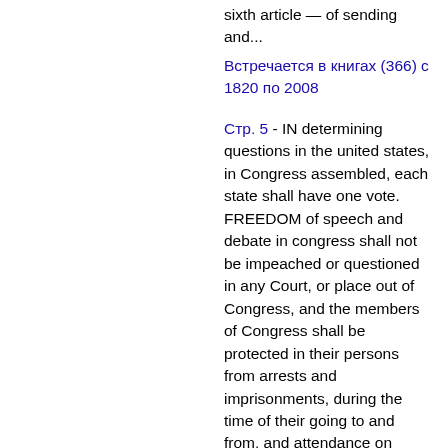sixth article — of sending and...
Встречается в книгах (366) с 1820 по 2008
Стр. 5 - IN determining questions in the united states, in Congress assembled, each state shall have one vote. FREEDOM of speech and debate in congress shall not be impeached or questioned in any Court, or place out of Congress, and the members of Congress shall be protected in their persons from arrests and imprisonments, during the time of their going to and from, and attendance on congress,